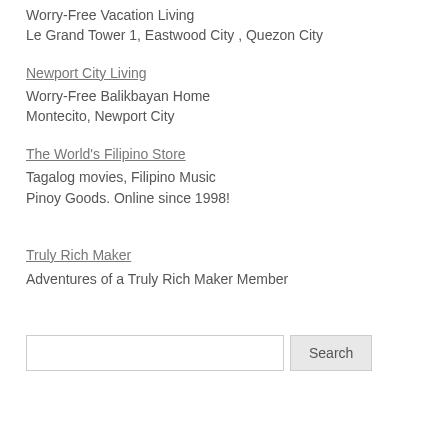Worry-Free Vacation Living
Le Grand Tower 1, Eastwood City , Quezon City
Newport City Living
Worry-Free Balikbayan Home
Montecito, Newport City
The World's Filipino Store
Tagalog movies, Filipino Music
Pinoy Goods. Online since 1998!
Truly Rich Maker
Adventures of a Truly Rich Maker Member